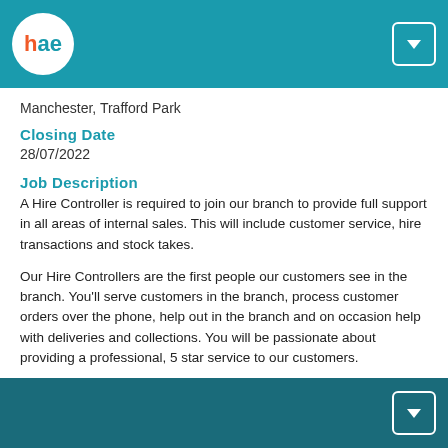HAE logo header bar with navigation button
Manchester, Trafford Park
Closing Date
28/07/2022
Job Description
A Hire Controller is required to join our branch to provide full support in all areas of internal sales. This will include customer service, hire transactions and stock takes.
Our Hire Controllers are the first people our customers see in the branch. You'll serve customers in the branch, process customer orders over the phone, help out in the branch and on occasion help with deliveries and collections. You will be passionate about providing a professional, 5 star service to our customers.
Working closely with the internal sales team to achieve business
Footer navigation button